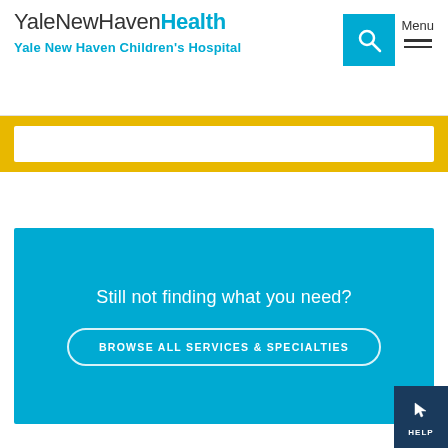YaleNewHavenHealth Yale New Haven Children's Hospital
[Figure (screenshot): Search icon (magnifying glass) in blue box and hamburger menu with Menu label]
[Figure (screenshot): Search input bar area with gold/yellow background]
Still not finding what you need?
BROWSE ALL SERVICES & SPECIALTIES
[Figure (screenshot): Help button with hand/pointer icon in dark navy blue at bottom right corner]